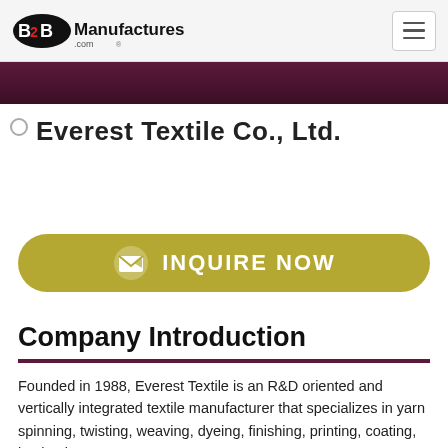B2BManufactures.com
[Figure (illustration): Dark purple/maroon gradient banner strip below navigation bar]
Everest Textile Co., Ltd.
[Figure (infographic): Olive/golden yellow rounded button with envelope icon and text INQUIRE NOW]
Company Introduction
Founded in 1988, Everest Textile is an R&D oriented and vertically integrated textile manufacturer that specializes in yarn spinning, twisting, weaving, dyeing, finishing, printing, coating, laminating